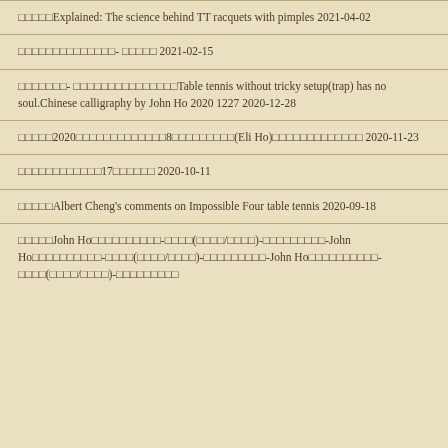□□□□□Explained: The science behind TT racquets with pimples 2021-04-02
□□□□□□□□□□□□□□- □□□□□ 2021-02-15
□□□□□□□- □□□□□□□□□□□□□□□Table tennis without tricky setup(trap) has no soul.Chinese calligraphy by John Ho 2020 1227 2020-12-28
□□□□□2020□□□□□□□□□□□□□8□□□□□□□□□(Eli Ho)□□□□□□□□□□□□□ 2020-11-23
□□□□□□□□□□□□17□□□□□□ 2020-10-11
□□□□□Albert Cheng's comments on Impossible Four table tennis 2020-09-18
□□□□□John Ho□□□□□□□□□□-□□□□(□□□□/□□□□)-□□□□□□□□□-John Ho□□□□□□□□□□-□□□□(□□□□/□□□□)-□□□□□□□□□-John Ho□□□□□□□□□□-□□□□(□□□□/□□□□)-□□□□□□□□□